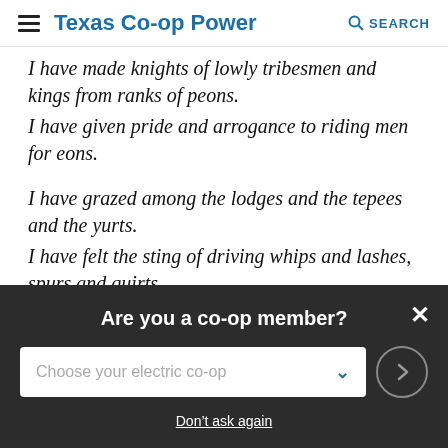Texas Co-op Power   SEARCH
I have made knights of lowly tribesmen and kings from ranks of peons.
I have given pride and arrogance to riding men for eons.
I have grazed among the lodges and the tepees and the yurts.
I have felt the sting of driving whips and lashes, spurs and quirts.
I am roguish—I am flighty—I am inbred—I am lowly.
I'm a nightmare—I am wild—I am the horse. …
Are you a co-op member?
Choose your electric co-op
Don't ask again